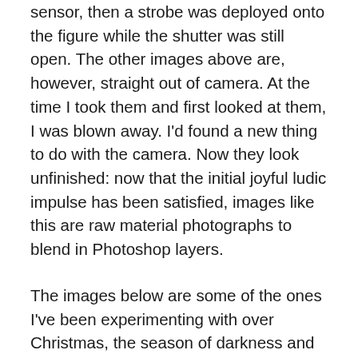sensor, then a strobe was deployed onto the figure while the shutter was still open. The other images above are, however, straight out of camera. At the time I took them and first looked at them, I was blown away. I'd found a new thing to do with the camera. Now they look unfinished: now that the initial joyful ludic impulse has been satisfied, images like this are raw material photographs to blend in Photoshop layers.
The images below are some of the ones I've been experimenting with over Christmas, the season of darkness and fairy lights. This has to be done in darkness bar the lights that will be the 'pencils', to steal Fox Talbot's metaphor, because any stray light will smudge and begin to print the room features onto the sensor. I wait till everyone's gone to bed. Then, it's easy to spend time into the small hours filling a camera card with photograph after